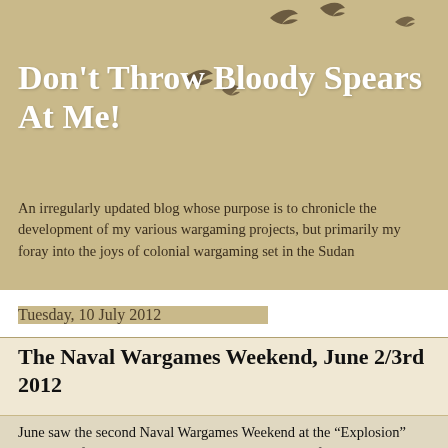Don't Throw Bloody Spears At Me!
An irregularly updated blog whose purpose is to chronicle the development of my various wargaming projects, but primarily my foray into the joys of colonial wargaming set in the Sudan
Tuesday, 10 July 2012
The Naval Wargames Weekend, June 2/3rd 2012
June saw the second Naval Wargames Weekend at the “Explosion” Museum of Naval Firepower in Gosport. My plans for the event were dashed by both Liz and I suffering various debilitating injuries in the week before, meaning